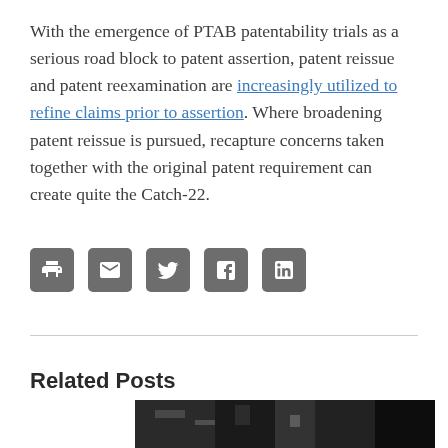With the emergence of PTAB patentability trials as a serious road block to patent assertion, patent reissue and patent reexamination are increasingly utilized to refine claims prior to assertion. Where broadening patent reissue is pursued, recapture concerns taken together with the original patent requirement can create quite the Catch-22.
[Figure (other): Social sharing icons: print, email, Twitter, Facebook, LinkedIn]
Related Posts
[Figure (photo): Black and white photo thumbnail showing mechanical/metallic parts]